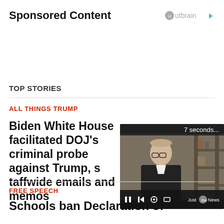Sponsored Content
[Figure (logo): Outbrain logo with circular icon and play arrow]
TOP STORIES
ALL THINGS TRUMP
Biden White House facilitated DOJ's criminal probe against Trump, staffwide emails and memos
[Figure (screenshot): Video player overlay showing a man in a dark suit, with '7 seconds...' timer bar and video controls including pause, back, settings, and fullscreen buttons. Just the News logo visible.]
FREE SPEECH
Schools ban Declaration of